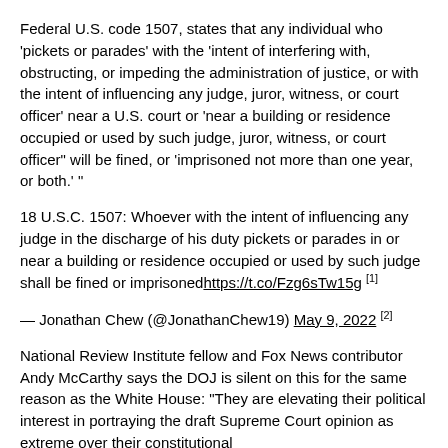Federal U.S. code 1507, states that any individual who 'pickets or parades' with the 'intent of interfering with, obstructing, or impeding the administration of justice, or with the intent of influencing any judge, juror, witness, or court officer' near a U.S. court or 'near a building or residence occupied or used by such judge, juror, witness, or court officer" will be fined, or 'imprisoned not more than one year, or both.' "
18 U.S.C. 1507: Whoever with the intent of influencing any judge in the discharge of his duty pickets or parades in or near a building or residence occupied or used by such judge shall be fined or imprisoned https://t.co/Fzg6sTw15g [1]
— Jonathan Chew (@JonathanChew19) May 9, 2022 [2]
National Review Institute fellow and Fox News contributor Andy McCarthy says the DOJ is silent on this for the same reason as the White House: "They are elevating their political interest in portraying the draft Supreme Court opinion as extreme over their constitutional